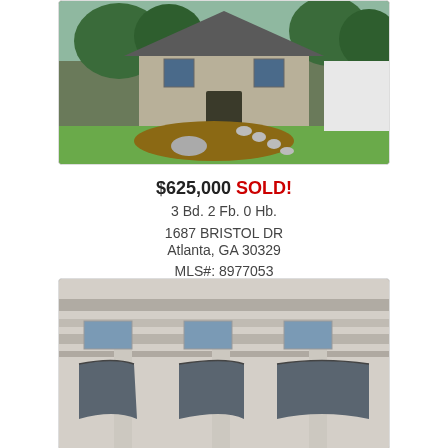[Figure (photo): Exterior photo of a single-family house with green lawn]
$625,000 SOLD!
3 Bd. 2 Fb. 0 Hb.
1687 BRISTOL DR
Atlanta, GA 30329
MLS#: 8977053
📷 64
Sold
[Figure (photo): Exterior photo of a building facade with arched dark awnings and columns]